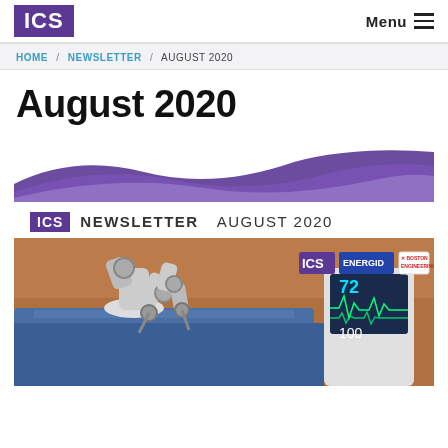ICS  Menu
HOME / NEWSLETTER / AUGUST 2020
August 2020
[Figure (illustration): ICS Newsletter August 2020 banner with purple wave design, ICS logo, NEWSLETTER and AUGUST 2020 text, and a medical robot surgery image with ICS, ENERGID, and Boston Engineering logos]
ICS NEWSLETTER  AUGUST 2020